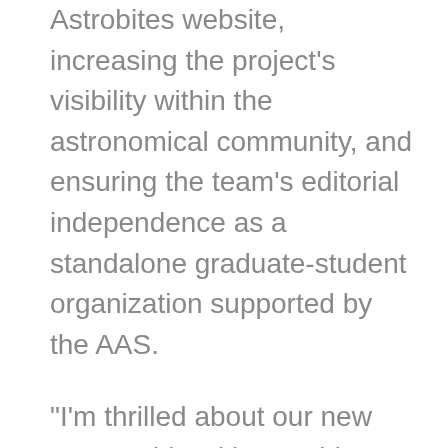Astrobites website, increasing the project's visibility within the astronomical community, and ensuring the team's editorial independence as a standalone graduate-student organization supported by the AAS.
“I’m thrilled about our new partnership with Astrobites,” says AAS Executive Officer Kevin B. Marvel. “The content they produce has great value to readers spanning the range from college students to senior